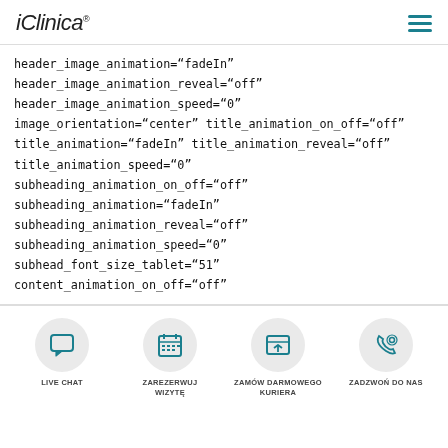iClinica
header_image_animation="fadeIn"
header_image_animation_reveal="off"
header_image_animation_speed="0"
image_orientation="center" title_animation_on_off="off"
title_animation="fadeIn" title_animation_reveal="off"
title_animation_speed="0"
subheading_animation_on_off="off"
subheading_animation="fadeIn"
subheading_animation_reveal="off"
subheading_animation_speed="0"
subhead_font_size_tablet="51"
content_animation_on_off="off"
[Figure (infographic): Footer navigation bar with four icon buttons: LIVE CHAT (speech bubble icon), ZAREZERWUJ WIZYTĘ (calendar icon), ZAMÓW DARMOWEGO KURIERA (box/return icon), ZADZWOŃ DO NAS (phone icon)]